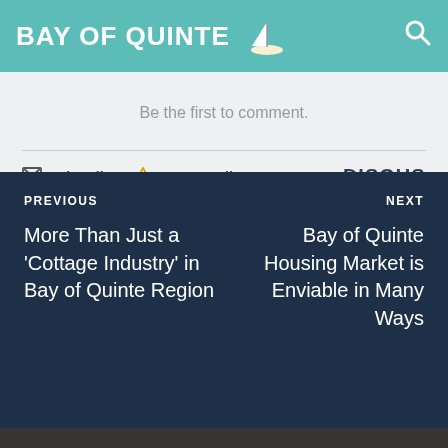BAY OF QUINTE
Be the first to comment.
Subscribe   Do Not Sell My Data   DISQUS
PREVIOUS
More Than Just a 'Cottage Industry' in Bay of Quinte Region
NEXT
Bay of Quinte Housing Market is Enviable in Many Ways